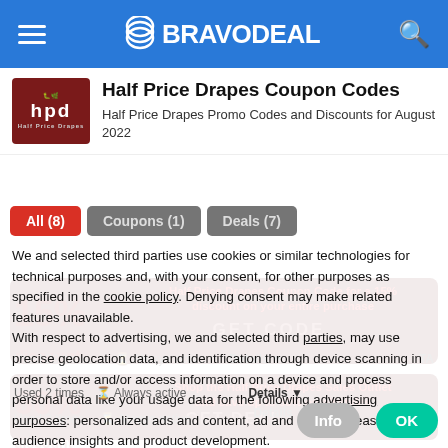BRAVODEAL
Half Price Drapes Coupon Codes
Half Price Drapes Promo Codes and Discounts for August 2022
All (8)
Coupons (1)
Deals (7)
We and selected third parties use cookies or similar technologies for technical purposes and, with your consent, for other purposes as specified in the cookie policy. Denying consent may make related features unavailable.
With respect to advertising, we and selected third parties, may use precise geolocation data, and identification through device scanning in order to store and/or access information on a device and process personal data like your usage data for the following advertising purposes: personalized ads and content, ad and content measurement, audience insights and product development.
You can freely give, deny, or withdraw your consent at any time by accessing the preferences panel.
You can consent to the use of such technologies by using the "OK" button or by continuing to browse otherwise.